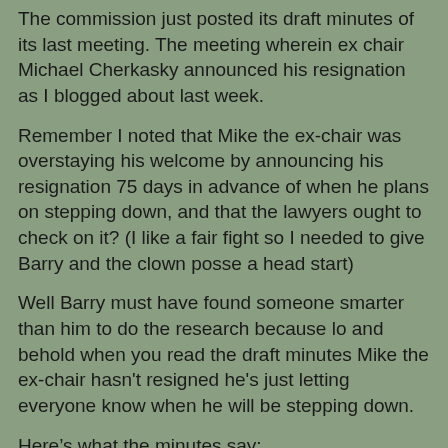The commission just posted its draft minutes of its last meeting. The meeting wherein ex chair Michael Cherkasky announced his resignation as I blogged about last week.
Remember I noted that Mike the ex-chair was overstaying his welcome by announcing his resignation 75 days in advance of when he plans on stepping down, and that the lawyers ought to check on it? (I like a fair fight so I needed to give Barry and the clown posse a head start)
Well Barry must have found someone smarter than him to do the research because lo and behold when you read the draft minutes Mike the ex-chair hasn't resigned he's just letting everyone know when he will be stepping down.
Here's what the minutes say:
“PUBLIC ANNOUNCEMENT
Chairman Michael Cherkasky announced that it has been an incredible pleasure
working with this group of people and being Chairman of this Commission.
Unfortunately, things have changed in his professional life.